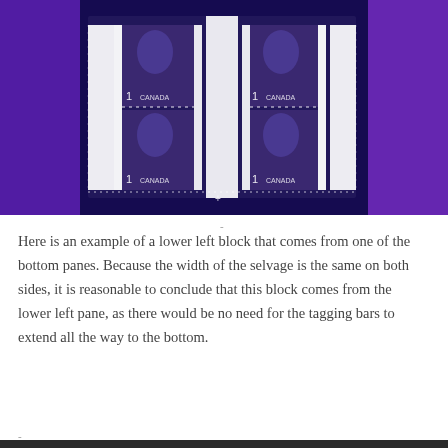[Figure (photo): Four Canadian 1-cent stamps arranged in a 2x2 block viewed under ultraviolet light, showing fluorescent tagging bars. The stamps glow with purple/blue hues under UV. White selvage and gutter margins are visible with bright tagging bars. Background is dark blue/purple UV light.]
Here is an example of a lower left block that comes from one of the bottom panes. Because the width of the selvage is the same on both sides, it is reasonable to conclude that this block comes from the lower left pane, as there would be no need for the tagging bars to extend all the way to the bottom.